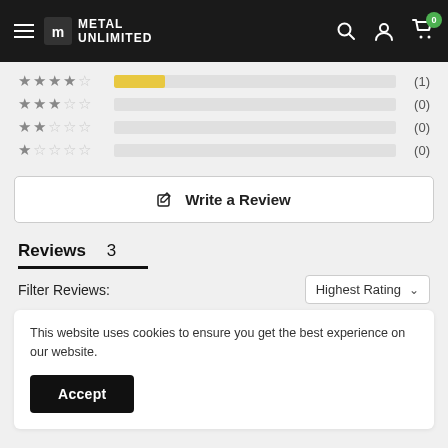[Figure (logo): Metal Unlimited logo with hamburger menu, search, account, and cart icons in black header]
[Figure (infographic): Star rating breakdown: 4-star (1), 3-star (0), 2-star (0), 1-star (0) with horizontal bar chart]
Write a Review
Reviews  3
Filter Reviews:
Highest Rating
This website uses cookies to ensure you get the best experience on our website.
Accept